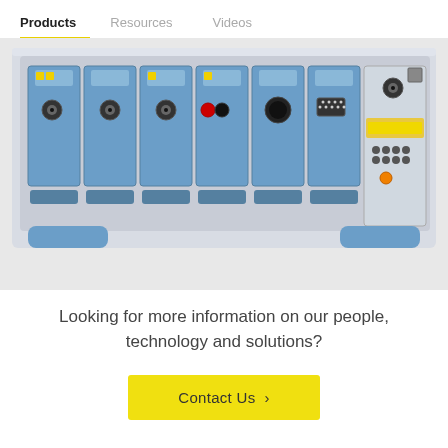Products | Resources | Videos
[Figure (photo): Back panel of a modular electronic test instrument (likely a data acquisition system or signal analyzer) with multiple blue plug-in module slots, BNC connectors, USB, serial and other I/O ports, and blue rubber feet/handles.]
Looking for more information on our people, technology and solutions?
Contact Us >